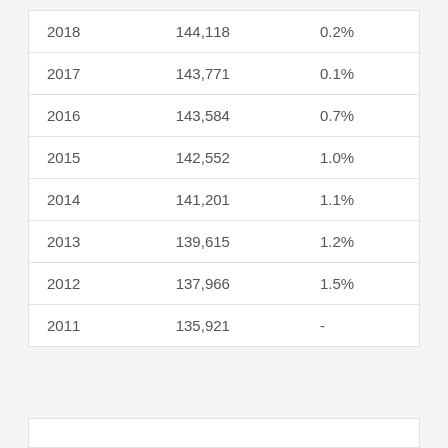| 2018 | 144,118 | 0.2% |
| 2017 | 143,771 | 0.1% |
| 2016 | 143,584 | 0.7% |
| 2015 | 142,552 | 1.0% |
| 2014 | 141,201 | 1.1% |
| 2013 | 139,615 | 1.2% |
| 2012 | 137,966 | 1.5% |
| 2011 | 135,921 | - |